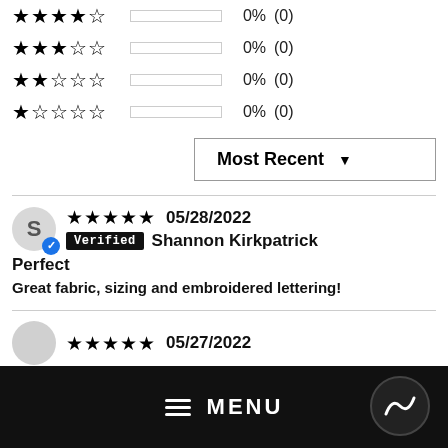4 stars: 0% (0)
3 stars: 0% (0)
2 stars: 0% (0)
1 star: 0% (0)
Most Recent ▼
★★★★★ 05/28/2022 Verified Shannon Kirkpatrick
Perfect
Great fabric, sizing and embroidered lettering!
★★★★★ 05/27/2022
Thank you.
≡ MENU